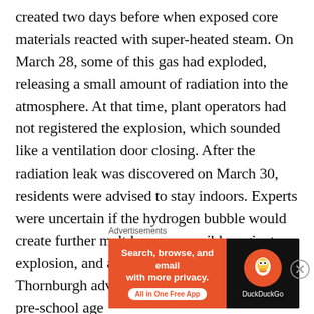created two days before when exposed core materials reacted with super-heated steam. On March 28, some of this gas had exploded, releasing a small amount of radiation into the atmosphere. At that time, plant operators had not registered the explosion, which sounded like a ventilation door closing. After the radiation leak was discovered on March 30, residents were advised to stay indoors. Experts were uncertain if the hydrogen bubble would create further meltdown or possibly a giant explosion, and as a precaution Governor Thornburgh advised "pregnant women and pre-school age
Advertisements
[Figure (other): DuckDuckGo advertisement banner with orange left panel reading 'Search, browse, and email with more privacy. All in One Free App' and dark right panel with DuckDuckGo logo and brand name.]